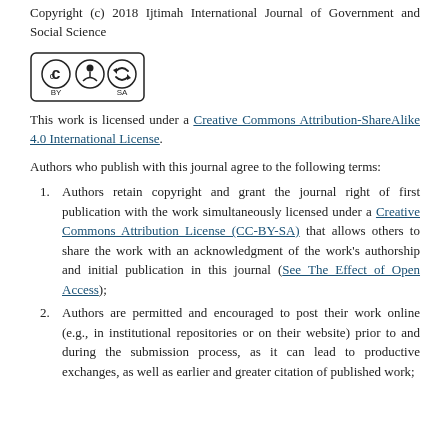Copyright (c) 2018 Ijtimah International Journal of Government and Social Science
[Figure (logo): Creative Commons CC BY-SA license badge logo]
This work is licensed under a Creative Commons Attribution-ShareAlike 4.0 International License.
Authors who publish with this journal agree to the following terms:
Authors retain copyright and grant the journal right of first publication with the work simultaneously licensed under a Creative Commons Attribution License (CC-BY-SA) that allows others to share the work with an acknowledgment of the work's authorship and initial publication in this journal (See The Effect of Open Access);
Authors are permitted and encouraged to post their work online (e.g., in institutional repositories or on their website) prior to and during the submission process, as it can lead to productive exchanges, as well as earlier and greater citation of published work;